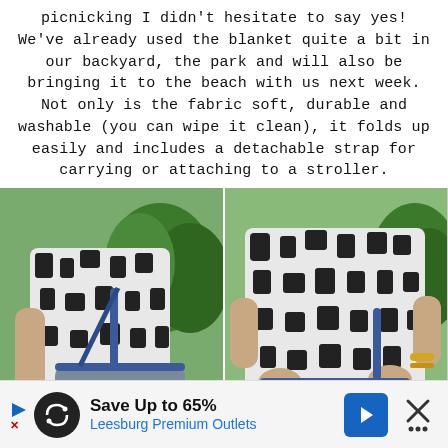picnicking I didn't hesitate to say yes! We've already used the blanket quite a bit in our backyard, the park and will also be bringing it to the beach with us next week. Not only is the fabric soft, durable and washable (you can wipe it clean), it folds up easily and includes a detachable strap for carrying or attaching to a stroller.
[Figure (photo): Two side-by-side photos of a woman wearing a black-and-white patterned dress outdoors, carrying a gray and blue folded blanket/bag with a shoulder strap. Left photo shows her from the side/back holding the bag. Right photo shows her from the front holding the bag.]
[Figure (screenshot): Advertisement bar at bottom: 'Save Up to 65% Leesburg Premium Outlets' with a loop logo icon, blue direction arrow button, and an X close button.]